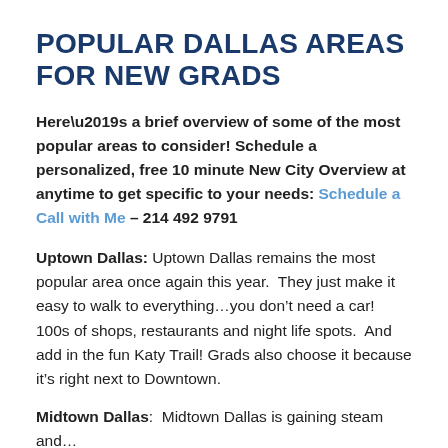POPULAR DALLAS AREAS FOR NEW GRADS
Here’s a brief overview of some of the most popular areas to consider! Schedule a personalized, free 10 minute New City Overview at anytime to get specific to your needs: Schedule a Call with Me – 214 492 9791
Uptown Dallas: Uptown Dallas remains the most popular area once again this year.  They just make it easy to walk to everything…you don’t need a car! 100s of shops, restaurants and night life spots.  And add in the fun Katy Trail! Grads also choose it because it’s right next to Downtown.
Midtown Dallas:  Midtown Dallas is gaining steam and…